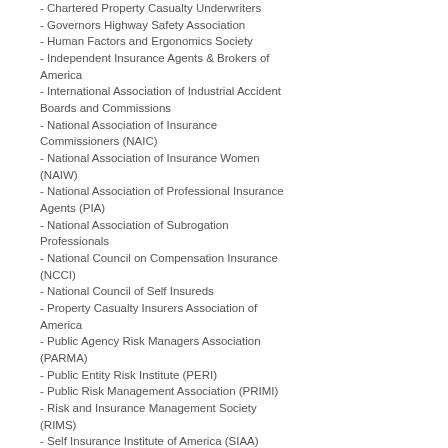- Chartered Property Casualty Underwriters
- Governors Highway Safety Association
- Human Factors and Ergonomics Society
- Independent Insurance Agents & Brokers of America
- International Association of Industrial Accident Boards and Commissions
- National Association of Insurance Commissioners (NAIC)
- National Association of Insurance Women (NAIW)
- National Association of Professional Insurance Agents (PIA)
- National Association of Subrogation Professionals
- National Council on Compensation Insurance (NCCI)
- National Council of Self Insureds
- Property Casualty Insurers Association of America
- Public Agency Risk Managers Association (PARMA)
- Public Entity Risk Institute (PERI)
- Public Risk Management Association (PRIMI)
- Risk and Insurance Management Society (RIMS)
- Self Insurance Institute of America (SIAA)
- Society of Actuaries
- Workers' Compensation Research Institute (WCRI)
WC RESOURCES
- ACOEM Policies & Position Statements
- adjuster.com
- All 50 States' & D.C.'s Home Pages and WC Agencies
- Bureau of Labor Statistics